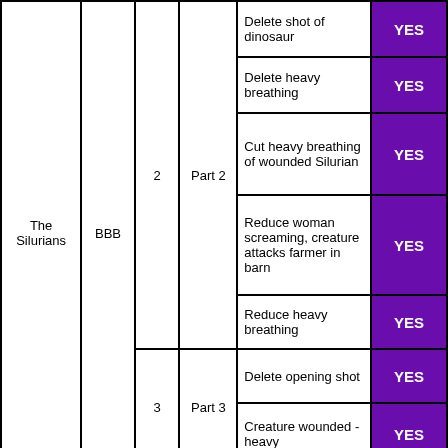| Title | Certificate | Episode | Part | Description | Decision |
| --- | --- | --- | --- | --- | --- |
| The Silurians | BBB |  |  | Delete shot of dinosaur | YES |
|  |  |  |  | Delete heavy breathing | YES |
|  |  | 2 | Part 2 | Cut heavy breathing of wounded Silurian | YES |
|  |  |  |  | Reduce woman screaming, creature attacks farmer in barn | YES |
|  |  |  |  | Reduce heavy breathing | YES |
|  |  | 3 | Part 3 | Delete opening shot | YES |
|  |  |  |  | Creature wounded - heavy | YES |